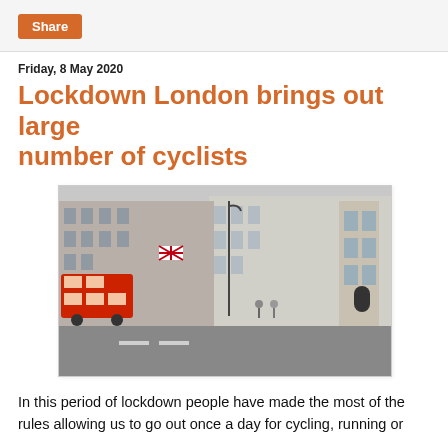Share
Friday, 8 May 2020
Lockdown London brings out large number of cyclists
[Figure (photo): Street scene in London showing grand neoclassical buildings, a red double-decker bus on the left, cyclists on the pavement, and a nearly empty road in the foreground.]
In this period of lockdown people have made the most of the rules allowing us to go out once a day for cycling, running or